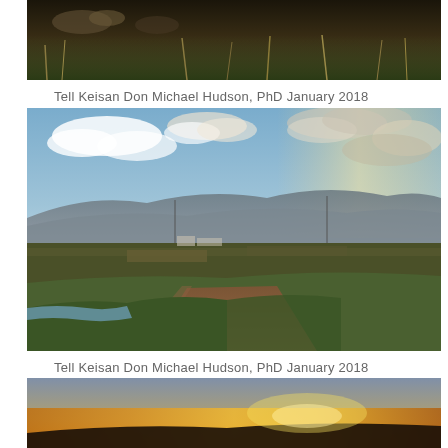[Figure (photo): Partial view of rocky ground with dry grass, top portion of an outdoor landscape photo]
Tell Keisan Don Michael Hudson, PhD January 2018
[Figure (photo): Wide landscape view of a valley at dusk/dawn with a dirt path in the foreground, agricultural fields, water channels, and dramatic cloudy sky with mountains in the background. Tell Keisan site.]
Tell Keisan Don Michael Hudson, PhD January 2018
[Figure (photo): Bottom portion of another landscape photo, showing a sunset/sunrise sky with warm orange tones]